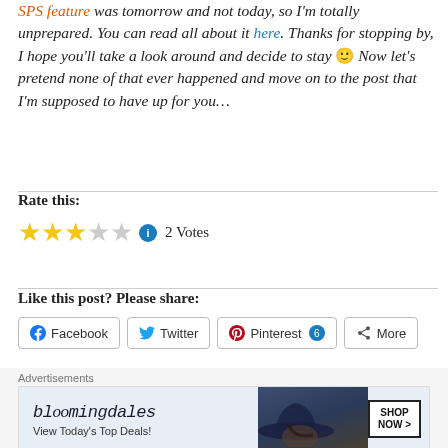SPS feature was tomorrow and not today, so I'm totally unprepared. You can read all about it here. Thanks for stopping by, I hope you'll take a look around and decide to stay 🙂 Now let's pretend none of that ever happened and move on to the post that I'm supposed to have up for you…
Rate this:
[Figure (other): 3 out of 5 star rating with info icon, labeled '2 Votes']
Like this post? Please share:
[Figure (screenshot): Share buttons: Facebook, Twitter, Pinterest (6), More]
[Figure (infographic): Bloomingdale's advertisement banner: 'bloomingdales - View Today's Top Deals! SHOP NOW >']